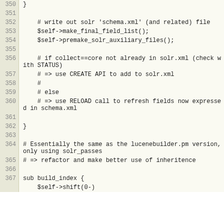Code listing lines 350-367: Perl/script source code showing write out solr schema.xml, field list, auxiliary files, core creation logic, and build_index sub
350: }
351: (empty)
352: # write out solr 'schema.xml' (and related) file
353: $self->make_final_field_list();
354: $self->premake_solr_auxiliary_files();
355: (empty)
356: # if collect==core not already in solr.xml (check with STATUS)
357: # => use CREATE API to add to solr.xml
358: #
359: # else
360: # => use RELOAD call to refresh fields now expressed in schema.xml
361: (empty)
362: }
363: (empty)
364: # Essentially the same as the lucenebuilder.pm version, only using solr_passes
365: # => refactor and make better use of inheritence
366: (empty)
367: sub build_index {